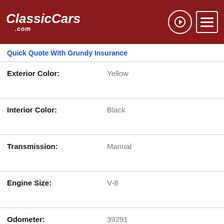ClassicCars.com
Quick Quote With Grundy Insurance
| Field | Value |
| --- | --- |
| Exterior Color: | Yellow |
| Interior Color: | Black |
| Transmission: | Manual |
| Engine Size: | V-8 |
| Odometer: | 39291 |
| Title Status: | Clear |
| Restoration History: | Fully Restored |